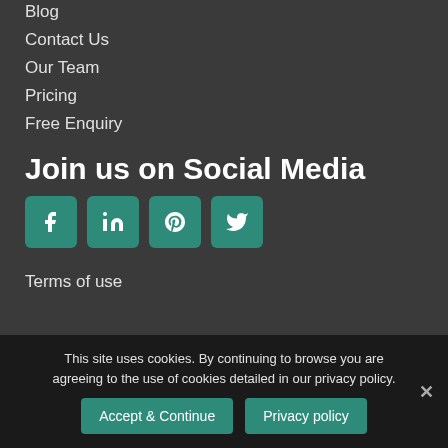Blog
Contact Us
Our Team
Pricing
Free Enquiry
Join us on Social Media
[Figure (infographic): Four teal social media icon buttons: Facebook, LinkedIn, Pinterest, Twitter]
Terms of use
This site uses cookies. By continuing to browse you are agreeing to the use of cookies detailed in our privacy policy.
Accept & Continue   Privacy policy